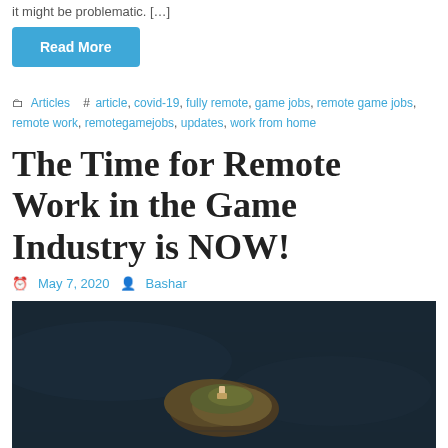it might be problematic. […]
Read More
Articles  #  article, covid-19, fully remote, game jobs, remote game jobs, remote work, remotegamejobs, updates, work from home
The Time for Remote Work in the Game Industry is NOW!
May 7, 2020   Bashar
[Figure (photo): Aerial photo of a small rocky island or rock formation in dark water, with a person or small structure visible on top.]